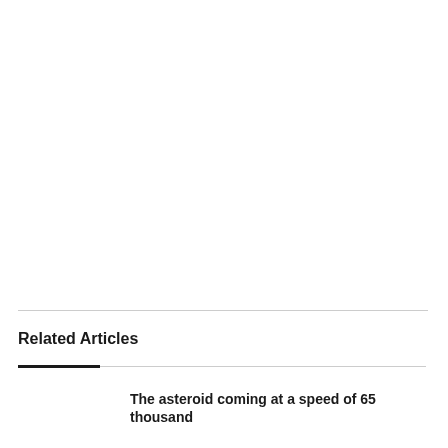Related Articles
The asteroid coming at a speed of 65 thousand